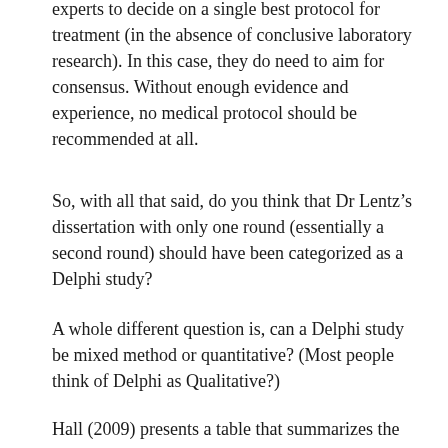experts to decide on a single best protocol for treatment (in the absence of conclusive laboratory research). In this case, they do need to aim for consensus. Without enough evidence and experience, no medical protocol should be recommended at all.
So, with all that said, do you think that Dr Lentz's dissertation with only one round (essentially a second round) should have been categorized as a Delphi study?
A whole different question is, can a Delphi study be mixed method or quantitative? (Most people think of Delphi as Qualitative?)
Hall (2009) presents a table that summarizes the various